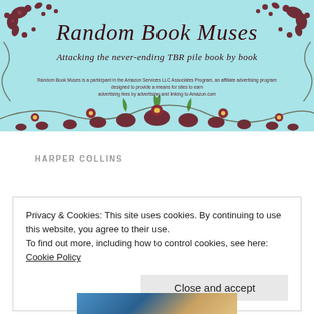[Figure (illustration): Blog header banner for 'Random Book Muses' with teal/aqua background and dark brown floral/vine decorative borders. Contains site title, subtitle, and affiliate disclaimer text.]
Random Book Muses
Attacking the never-ending TBR pile book by book
Random Book Muses is a participant in the Amazon Services LLC Associates Program, an affiliate advertising program designed to provide a means for sites to earn advertising fees by advertising and linking to Amazon.com
HARPER COLLINS
Privacy & Cookies: This site uses cookies. By continuing to use this website, you agree to their use.
To find out more, including how to control cookies, see here: Cookie Policy
Close and accept